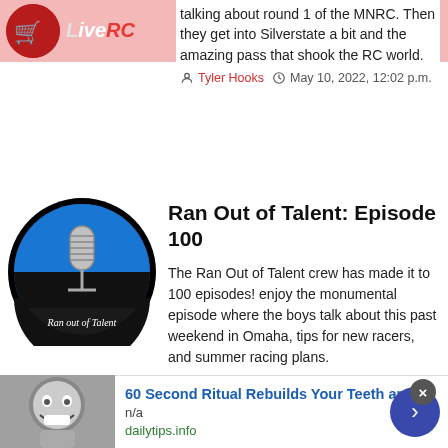LiveRC
talking about round 1 of the MNRC. Then they get into Silverstate a bit and the amazing pass that shook the RC world.
Tyler Hooks  May 10, 2022, 12:02 p.m.
[Figure (logo): Ran Out of Talent podcast logo - circular image with a vintage microphone on blue/black background with text 'Ran out of Talent']
Ran Out of Talent: Episode 100
The Ran Out of Talent crew has made it to 100 episodes! enjoy the monumental episode where the boys talk about this past weekend in Omaha, tips for new racers, and summer racing plans.
Tyler Hooks  April 26, 2022, 12:52 p.m.
[Figure (photo): Make dinner - ad banner with dark background and yellow-gold script text 'Make dinner' with photo on right side]
[Figure (photo): Ad thumbnail showing a person smiling wide in grayscale]
60 Second Ritual Rebuilds Your Teeth and
n/a
dailytips.info